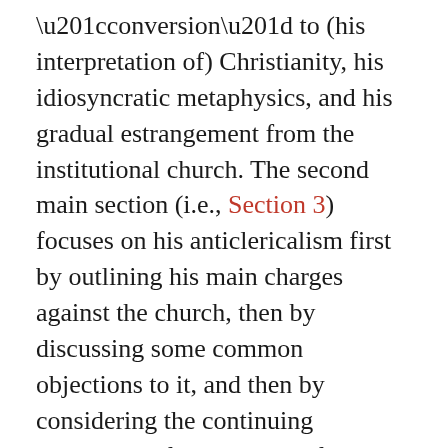“conversion” to (his interpretation of) Christianity, his idiosyncratic metaphysics, and his gradual estrangement from the institutional church. The second main section (i.e., Section 3) focuses on his anticlericalism first by outlining his main charges against the church, then by discussing some common objections to it, and then by considering the continuing pertinence of his critique of religious clericalism. The final section (i.e., Section 4) seeks to reflect on the broader applicability of the arguments informing his anticlericalism to secular institutions by discussing three themes in particular: the importance of rational scrutiny in public debate, the assessment of preachers and